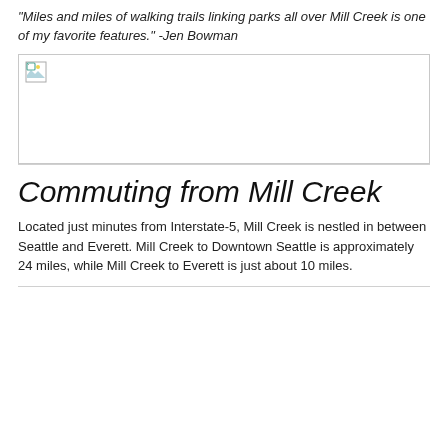"Miles and miles of walking trails linking parks all over Mill Creek is one of my favorite features." -Jen Bowman
[Figure (photo): Broken/missing image placeholder]
Commuting from Mill Creek
Located just minutes from Interstate-5, Mill Creek is nestled in between Seattle and Everett. Mill Creek to Downtown Seattle is approximately 24 miles, while Mill Creek to Everett is just about 10 miles.